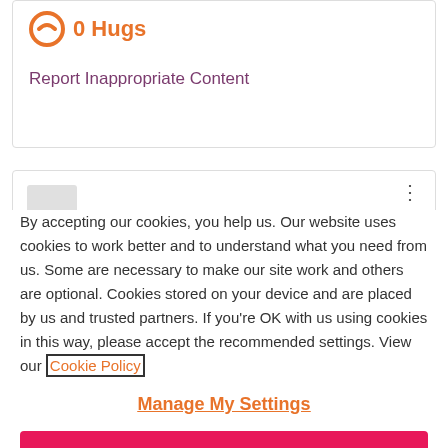0 Hugs
Report Inappropriate Content
By accepting our cookies, you help us. Our website uses cookies to work better and to understand what you need from us. Some are necessary to make our site work and others are optional. Cookies stored on your device and are placed by us and trusted partners. If you're OK with us using cookies in this way, please accept the recommended settings. View our Cookie Policy
Manage My Settings
Reject All
Accept All Cookies